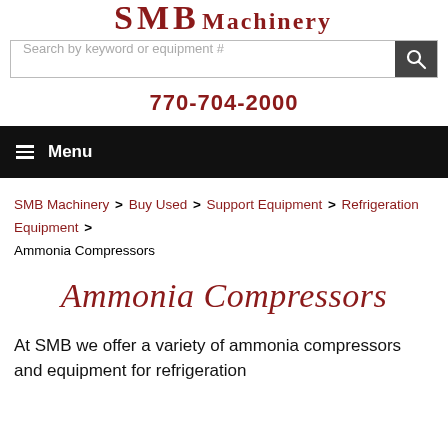[Figure (logo): SMB Machinery logo in dark red bold serif text]
Search by keyword or equipment #
770-704-2000
Menu
SMB Machinery > Buy Used > Support Equipment > Refrigeration Equipment > Ammonia Compressors
Ammonia Compressors
At SMB we offer a variety of ammonia compressors and equipment for refrigeration